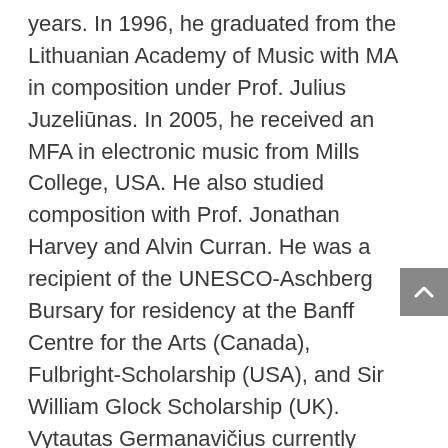years. In 1996, he graduated from the Lithuanian Academy of Music with MA in composition under Prof. Julius Juzeliūnas. In 2005, he received an MFA in electronic music from Mills College, USA. He also studied composition with Prof. Jonathan Harvey and Alvin Curran. He was a recipient of the UNESCO-Aschberg Bursary for residency at the Banff Centre for the Arts (Canada), Fulbright-Scholarship (USA), and Sir William Glock Scholarship (UK). Vytautas Germanavičius currently holds the position of the Chairman of the Lithuanian Composers' Union Music Foundation and the Chairman of the Lithuanian Section of ISCM.